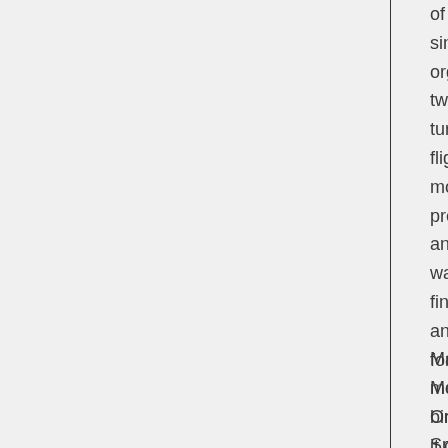of birds single organ twisting turning flight, mobbing preda and keep watch finding and sa for its memb birds a it can.
Many Move One is Spirit